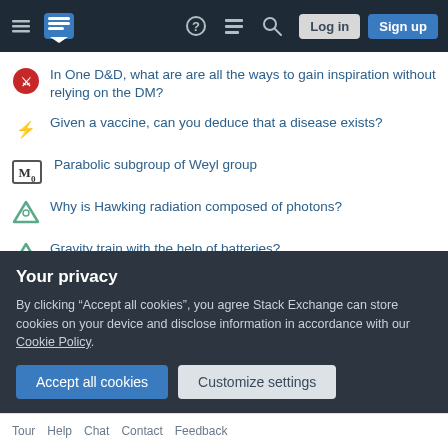Stack Exchange navigation bar with hamburger menu, logo, help, chat, search icons, Log in and Sign up buttons
In One D&D, what are are all the ways to gain inspiration without relying on the DM?
Given a vaccine, can you deduce that a disease exists?
Parabolic subgroup of Weyl group
Why is Hawking radiation composed of photons?
Gravity train with the help of batteries?
Input impedance of ADC and reading voltage from voltage divider
What is that Linux command that gives you a tight little system summary that includes an ASCII icon image of your OS right in the terminal?
About music copyright of music YouTuber a hisa
Your privacy
By clicking "Accept all cookies", you agree Stack Exchange can store cookies on your device and disclose information in accordance with our Cookie Policy.
Accept all cookies | Customize settings
Tour Help Chat Contact Feedback